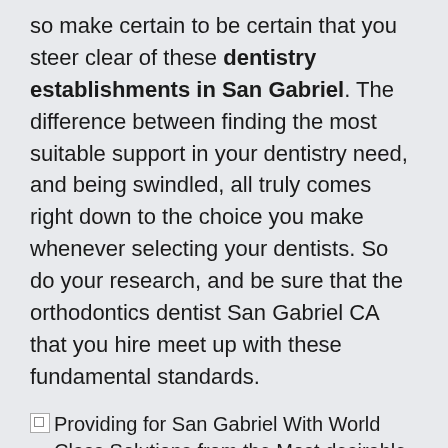so make certain to be certain that you steer clear of these dentistry establishments in San Gabriel. The difference between finding the most suitable support in your dentistry need, and being swindled, all truly comes right down to the choice you make whenever selecting your dentists. So do your research, and be sure that the orthodontics dentist San Gabriel CA that you hire meet up with these fundamental standards.
[Figure (other): Broken image placeholder with alt text: Providing for San Gabriel With World Class Solutions from the Most desirable Dentists]
Complete An In Depth Examination